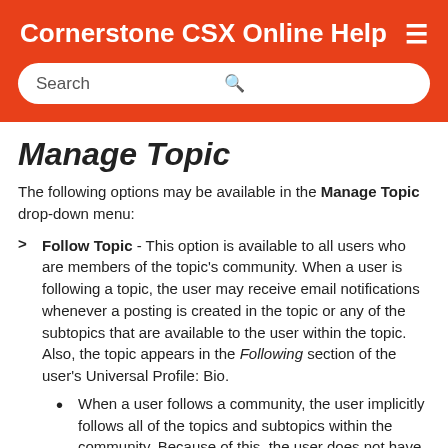Cornerstone CSX Online Help
Manage Topic
The following options may be available in the Manage Topic drop-down menu:
Follow Topic - This option is available to all users who are members of the topic's community. When a user is following a topic, the user may receive email notifications whenever a posting is created in the topic or any of the subtopics that are available to the user within the topic. Also, the topic appears in the Following section of the user's Universal Profile: Bio.
When a user follows a community, the user implicitly follows all of the topics and subtopics within the community. Because of this, the user does not have the option to follow or unfollow any topic within the community while the user is following the community. Similarly, when a user